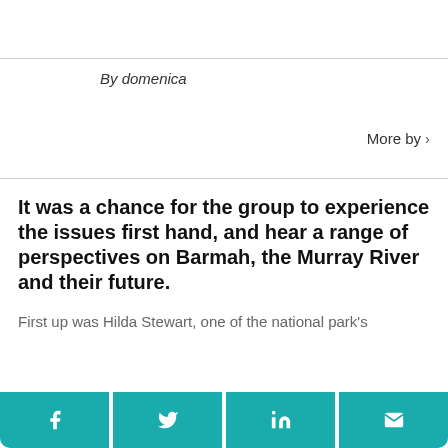By domenica
More by >
It was a chance for the group to experience the issues first hand, and hear a range of perspectives on Barmah, the Murray River and their future.
First up was Hilda Stewart, one of the national park's